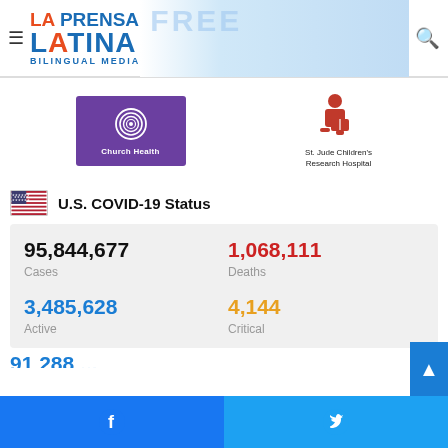La Prensa Latina Bilingual Media
[Figure (logo): Church Health logo - purple background with spiral heart icon]
[Figure (logo): St. Jude Children's Research Hospital logo - red child figure reading]
U.S. COVID-19 Status
95,844,677 Cases
1,068,111 Deaths
3,485,628 Active
4,144 Critical
Facebook share | Twitter share